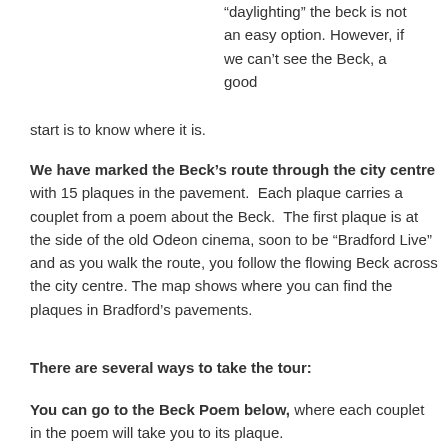“daylighting” the beck is not an easy option. However, if we can’t see the Beck, a good start is to know where it is.
We have marked the Beck’s route through the city centre with 15 plaques in the pavement. Each plaque carries a couplet from a poem about the Beck. The first plaque is at the side of the old Odeon cinema, soon to be “Bradford Live” and as you walk the route, you follow the flowing Beck across the city centre. The map shows where you can find the plaques in Bradford’s pavements.
There are several ways to take the tour:
You can go to the Beck Poem below, where each couplet in the poem will take you to its plaque.